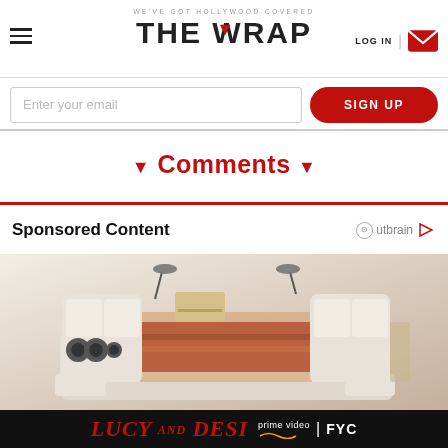WE'VE GOT HOLLYWOOD COVERED — THE WRAP — LOG IN
Enter your email
SIGN UP
▼ Comments ▼
Sponsored Content
[Figure (photo): Product image of a luxury smart bed/sofa with speakers, adjustable headrests, wooden side tables, and built-in lighting on a gradient background]
LUCY AND DESI prime video | FYC